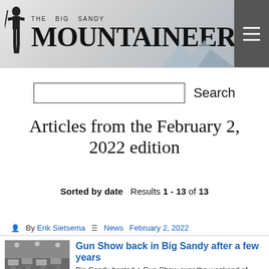[Figure (logo): The Big Sandy Mountaineer newspaper logo with soldier figure and mountain silhouette]
Search
Articles from the February 2, 2022 edition
Sorted by date  Results 1 - 13 of 13
By Erik Sietsema  News  February 2, 2022
[Figure (photo): Indoor gun show photo showing tables and attendees]
Gun Show back in Big Sandy after a few years
Big Sandy hosted a Gun Show over the weekend of January 28th to the